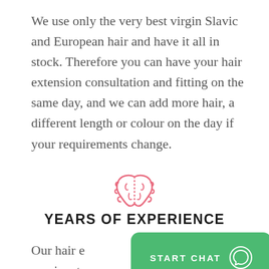We use only the very best virgin Slavic and European hair and have it all in stock. Therefore you can have your hair extension consultation and fitting on the same day, and we can add more hair, a different length or colour on the day if your requirements change.
[Figure (illustration): Pink outline brain icon]
YEARS OF EXPERIENCE
Our hair e...bly passionate...decades of experience in the field. They have spent years in
[Figure (other): Green START CHAT button with WhatsApp icon]